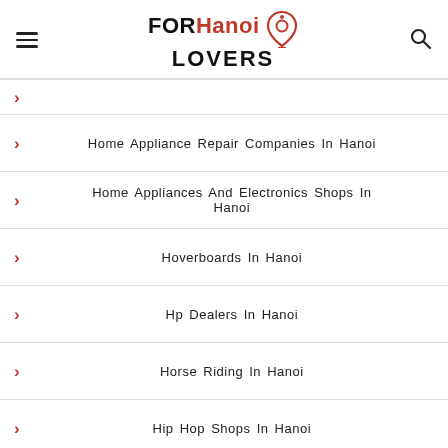FOR Hanoi LOVERS
Home Appliance Repair Companies In Hanoi
Home Appliances And Electronics Shops In Hanoi
Hoverboards In Hanoi
Hp Dealers In Hanoi
Horse Riding In Hanoi
Hip Hop Shops In Hanoi
Heating Shops In Hanoi